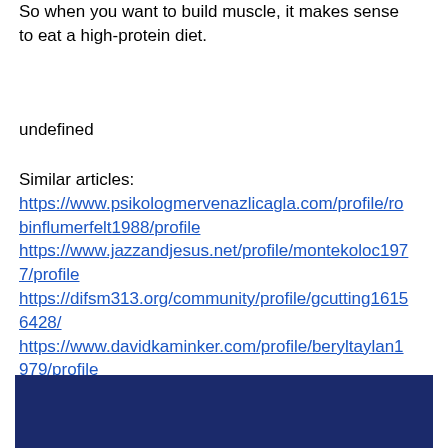So when you want to build muscle, it makes sense to eat a high-protein diet.
undefined
Similar articles:
https://www.psikologmervenazlicagla.com/profile/robinflumerfelt1988/profile
https://www.jazzandjesus.net/profile/montekoloc1977/profile
https://difsm313.org/community/profile/gcutting16156428/
https://www.davidkaminker.com/profile/beryltaylan1979/profile
[Figure (other): Dark navy blue rectangular footer bar]